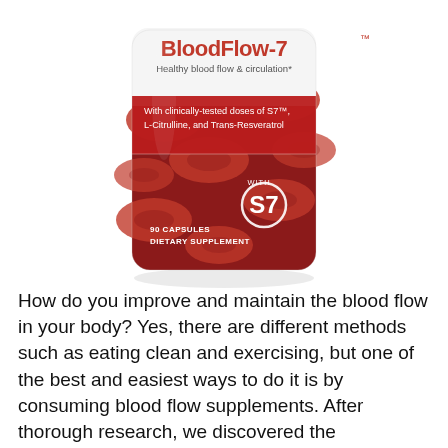[Figure (photo): A cylindrical supplement bottle labeled 'BloodFlow-7' with subtitle 'Healthy blood flow & circulation*'. The bottle has a red label area with white text reading 'With clinically-tested doses of S7™, L-Citrulline, and Trans-Resveratrol'. A logo with 'WITH S7' appears on the bottle. The bottle bottom section reads '90 CAPSULES DIETARY SUPPLEMENT'. The bottle is surrounded by a red background featuring 3D rendered red blood cells.]
How do you improve and maintain the blood flow in your body? Yes, there are different methods such as eating clean and exercising, but one of the best and easiest ways to do it is by consuming blood flow supplements. After thorough research, we discovered the BloodFlow-7 (also referred to as Blood Flow 7/ Blood Flow-Seven) which